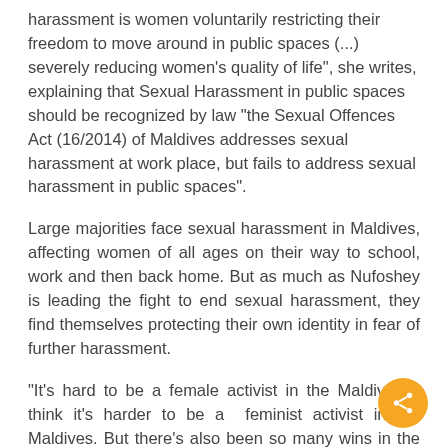harassment is women voluntarily restricting their freedom to move around in public spaces (...) severely reducing women's quality of life", she writes, explaining that Sexual Harassment in public spaces should be recognized by law "the Sexual Offences Act (16/2014) of Maldives addresses sexual harassment at work place, but fails to address sexual harassment in public spaces".
Large majorities face sexual harassment in Maldives, affecting women of all ages on their way to school, work and then back home. But as much as Nufoshey is leading the fight to end sexual harassment, they find themselves protecting their own identity in fear of further harassment.
"It's hard to be a female activist in the Maldives, I think it's harder to be a feminist activist in the Maldives. But there's also been so many wins in the past couple of years and I start thinking that it could be better in the future", says Aisha.